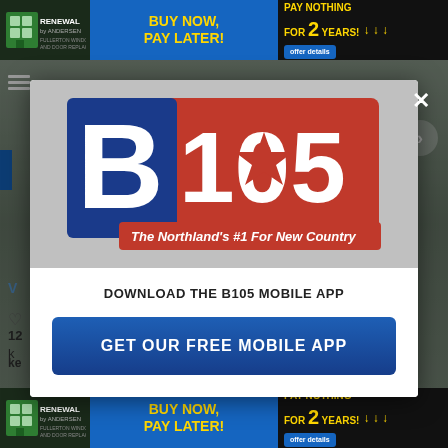[Figure (screenshot): Top advertisement banner: Renewal by Andersen - BUY NOW, PAY LATER! PAY NOTHING FOR 2 YEARS! with offer details button]
[Figure (screenshot): Background webpage content partially visible behind modal overlay]
[Figure (logo): B105 radio station logo - The Northland's #1 For New Country, shown in modal popup]
DOWNLOAD THE B105 MOBILE APP
[Figure (screenshot): GET OUR FREE MOBILE APP button in dark blue]
[Figure (screenshot): Bottom advertisement banner: Renewal by Andersen - BUY NOW, PAY LATER! PAY NOTHING FOR 2 YEARS! with offer details button]